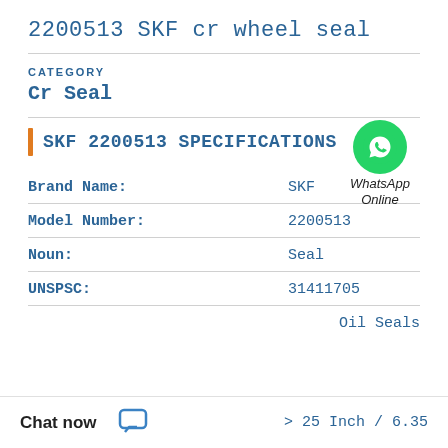2200513 SKF cr wheel seal
CATEGORY
Cr Seal
SKF 2200513 SPECIFICATIONS
| Field | Value |
| --- | --- |
| Brand Name: | SKF |
| Model Number: | 2200513 |
| Noun: | Seal |
| UNSPSC: | 31411705 |
|  | Oil Seals |
|  | > 25 Inch / 6.35 |
[Figure (logo): WhatsApp Online green circle logo with phone icon and text 'WhatsApp Online']
Chat now